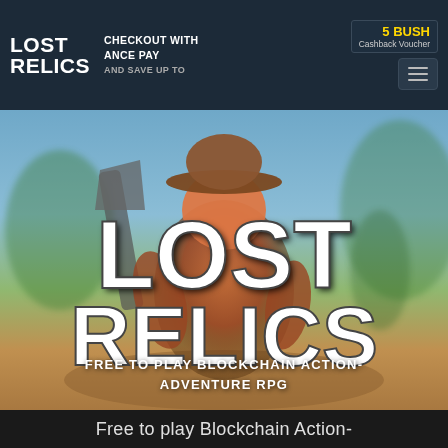LOST RELICS — CHECKOUT WITH ADVANCE PAY — 5 BUSH Cashback Voucher
[Figure (screenshot): Lost Relics game hero image: a 3D cartoon character wearing a brown hat and reddish outfit holding weapons, set against a blurred outdoor background. Large white LOST RELICS logo text overlays the center of the image.]
FREE TO PLAY BLOCKCHAIN ACTION-ADVENTURE RPG
Free to play Blockchain Action-